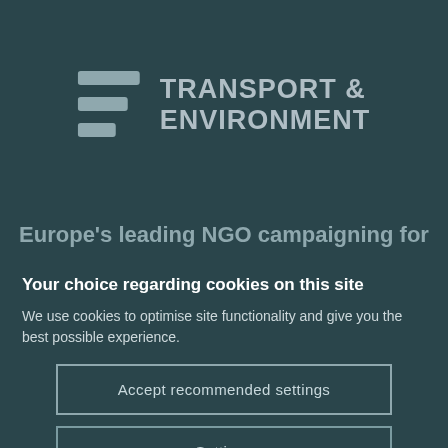[Figure (logo): Transport & Environment logo with stylized T&E icon and text 'TRANSPORT & ENVIRONMENT']
Europe's leading NGO campaigning for
Your choice regarding cookies on this site
We use cookies to optimise site functionality and give you the best possible experience.
Accept recommended settings
Settings